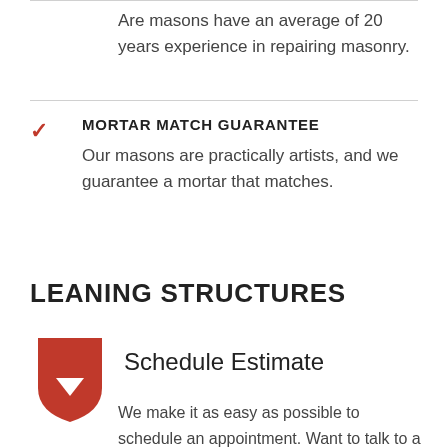Are masons have an average of 20 years experience in repairing masonry.
MORTAR MATCH GUARANTEE
Our masons are practically artists, and we guarantee a mortar that matches.
LEANING STRUCTURES
Schedule Estimate
We make it as easy as possible to schedule an appointment. Want to talk to a nice pleasant